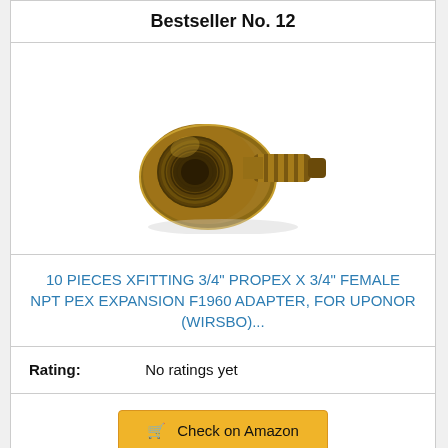Bestseller No. 12
[Figure (photo): Brass PEX expansion fitting adapter with female NPT threads on one end and a barbed connector on the other, shown on white background]
10 PIECES XFITTING 3/4" PROPEX X 3/4" FEMALE NPT PEX EXPANSION F1960 ADAPTER, FOR UPONOR (WIRSBO)...
Rating: No ratings yet
Check on Amazon